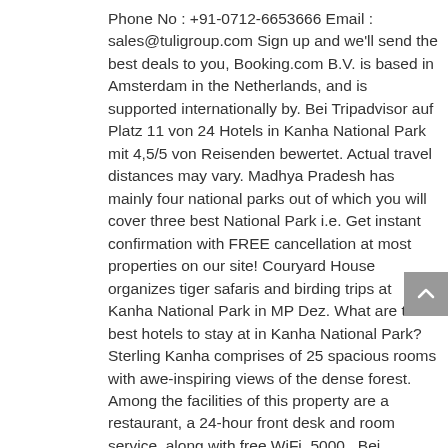Phone No : +91-0712-6653666 Email : sales@tuligroup.com Sign up and we'll send the best deals to you, Booking.com B.V. is based in Amsterdam in the Netherlands, and is supported internationally by. Bei Tripadvisor auf Platz 11 von 24 Hotels in Kanha National Park mit 4,5/5 von Reisenden bewertet. Actual travel distances may vary. Madhya Pradesh has mainly four national parks out of which you will cover three best National Park i.e. Get instant confirmation with FREE cancellation at most properties on our site! Couryard House organizes tiger safaris and birding trips at Kanha National Park in MP Dez. What are the best hotels to stay at in Kanha National Park? Sterling Kanha comprises of 25 spacious rooms with awe-inspiring views of the dense forest. Among the facilities of this property are a restaurant, a 24-hour front desk and room service, along with free WiFi. 5000 . Bei Tripadvisor auf Platz 10 von 24 Hotels in Kanha National Park mit 4,5/5 von Reisenden bewertet. Spa